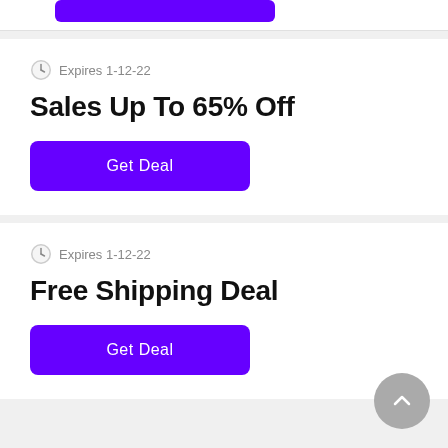[Figure (other): Purple button at top of page (partial, cropped)]
Expires 1-12-22
Sales Up To 65% Off
Get Deal
Expires 1-12-22
Free Shipping Deal
Get Deal